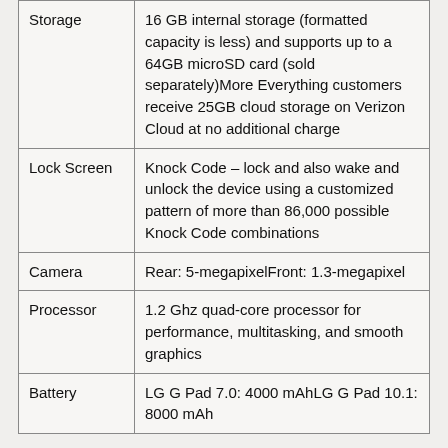| Feature | Description |
| --- | --- |
| Storage | 16 GB internal storage (formatted capacity is less) and supports up to a 64GB microSD card (sold separately)More Everything customers receive 25GB cloud storage on Verizon Cloud at no additional charge |
| Lock Screen | Knock Code – lock and also wake and unlock the device using a customized pattern of more than 86,000 possible Knock Code combinations |
| Camera | Rear: 5-megapixelFront: 1.3-megapixel |
| Processor | 1.2 Ghz quad-core processor for performance, multitasking, and smooth graphics |
| Battery | LG G Pad 7.0: 4000 mAhLG G Pad 10.1: 8000 mAh |